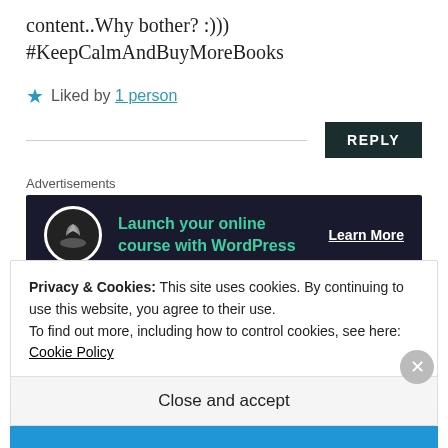content..Why bother? :)))
#KeepCalmAndBuyMoreBooks
Liked by 1 person
REPLY
Advertisements
[Figure (screenshot): Dark advertisement banner: bonsai tree logo, text 'Launch your online course with WordPress', 'Learn More' link]
REPORT THIS AD
Privacy & Cookies: This site uses cookies. By continuing to use this website, you agree to their use.
To find out more, including how to control cookies, see here: Cookie Policy
Close and accept